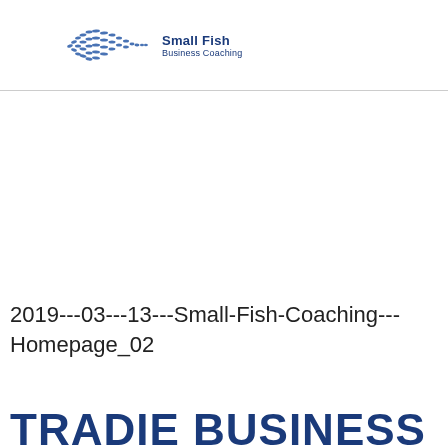[Figure (logo): Small Fish Business Coaching logo with fish illustration and company name]
2019---03---13---Small-Fish-Coaching---Homepage_02
TRADIE BUSINESS